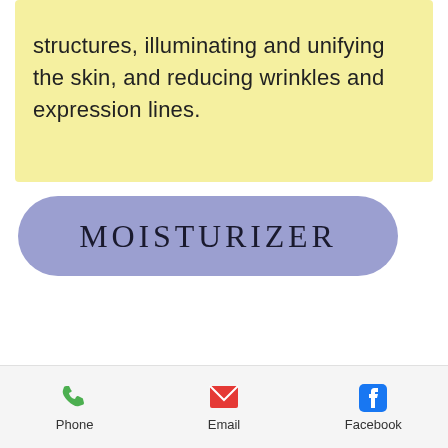the renewal of dermal support structures, illuminating and unifying the skin, and reducing wrinkles and expression lines.
MOISTURIZER
[Figure (photo): Endocare gelcream product box (dark teal top with logo and brand name, yellow-green bottom with gelcream label and advanced antiaging regeneration text) alongside a gold jar/container. A grey back-to-top arrow button is visible in the upper right of the product area.]
Phone   Email   Facebook